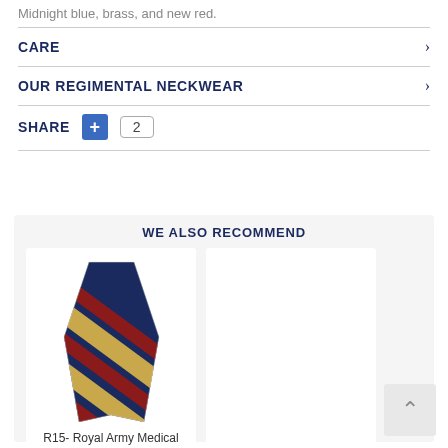Midnight blue, brass, and new red.
CARE
OUR REGIMENTAL NECKWEAR
SHARE  +  2
WE ALSO RECOMMEND
[Figure (photo): A striped regimental tie with navy blue, gold/brass, and red diagonal stripes.]
R15- Royal Army Medical Corps